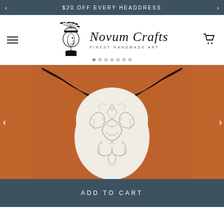$20 OFF EVERY HEADDRESS
[Figure (logo): Novum Crafts logo — Native American chief profile illustration with script text 'Novum Crafts' and tagline 'FINEST HANDMADE ART']
[Figure (photo): A carved white longhorn bull skull with intricate floral filigree patterns, black horns, mounted against an orange-red painted wall]
ADD TO CART